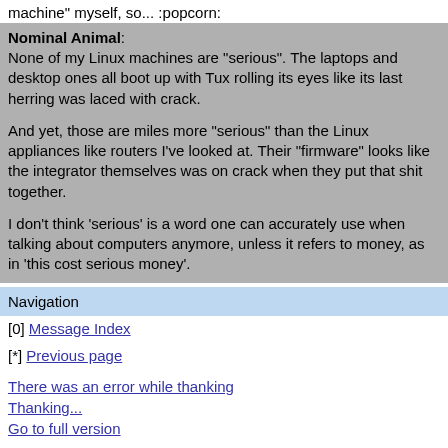machine" myself, so... :popcorn:
Nominal Animal: None of my Linux machines are "serious". The laptops and desktop ones all boot up with Tux rolling its eyes like its last herring was laced with crack.

And yet, those are miles more "serious" than the Linux appliances like routers I've looked at. Their "firmware" looks like the integrator themselves was on crack when they put that shit together.

I don't think 'serious' is a word one can accurately use when talking about computers anymore, unless it refers to money, as in 'this cost serious money'.
Navigation
[0] Message Index
[*] Previous page
There was an error while thanking
Thanking...
Go to full version